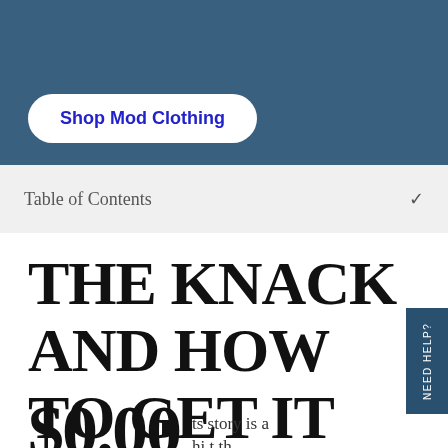[Figure (screenshot): Blue header banner with a white rounded button labeled 'Shop Mod Clothing' in bold blue text]
Shop Mod Clothing
Table of Contents  ∨
THE KNACK AND HOW TO GET IT
$0.00  ts story is a
NEED HELP?